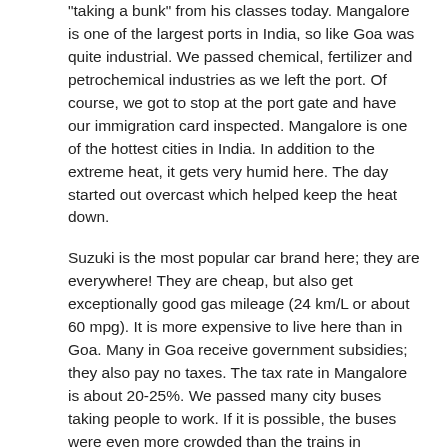"taking a bunk" from his classes today.  Mangalore is one of the largest ports in India, so like Goa was quite industrial.  We passed chemical, fertilizer and petrochemical industries as we left the port.  Of course, we got to stop at the port gate and have our immigration card inspected.  Mangalore is one of the hottest cities in India.  In addition to the extreme heat, it gets very humid here.  The day started out overcast which helped keep the heat down.
Suzuki is the most popular car brand here; they are everywhere!  They are cheap, but also get exceptionally good gas mileage (24 km/L or about 60 mpg).  It is more expensive to live here than in Goa.  Many in Goa receive government subsidies; they also pay no taxes.  The tax rate in Mangalore is about 20-25%.  We passed many city buses taking people to work.  If it is possible, the buses were even more crowded than the trains in Mumbai.  They were absolutely crammed full of people.  Mangalore is known for its great educational opportunities.  There are many excellent colleges here (mostly Catholic).  Nearby Bangalore is an IT hub.  The government provides subsidies for start-ups so many come there are many entrepreneurs here.  The crime rate is low.  It